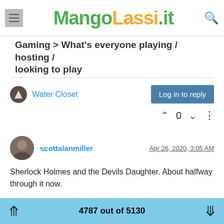MangoLassi.it
Gaming > What's everyone playing / hosting / looking to play
Water Closet
Log in to reply
0
scottalanmiller   Apr 26, 2020, 3:05 AM
Sherlock Holmes and the Devils Daughter. About halfway through it now.
0
4787 out of 5130